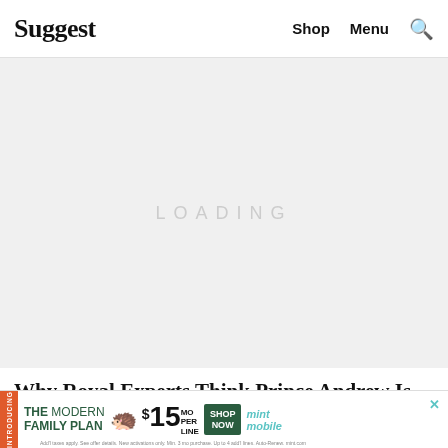Suggest   Shop   Menu   🔍
[Figure (other): Large advertisement placeholder area with light gray background and faint 'Loading' text in the center]
Why Royal Experts Think Prince Andrew Is Being...Used Against Her...
[Figure (other): Bottom banner advertisement for Mint Mobile The Modern Family Plan from $15/MO per line with Shop Now button]